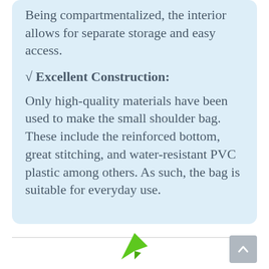Being compartmentalized, the interior allows for separate storage and easy access.
√ Excellent Construction:
Only high-quality materials have been used to make the small shoulder bag. These include the reinforced bottom, great stitching, and water-resistant PVC plastic among others. As such, the bag is suitable for everyday use.